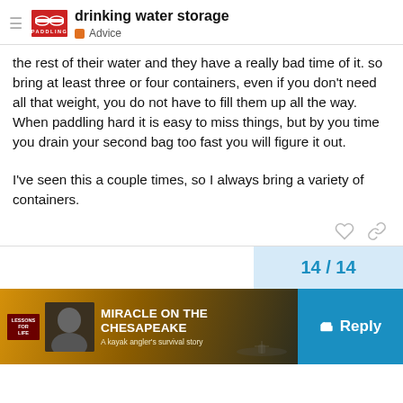drinking water storage — Advice
the rest of their water and they have a really bad time of it. so bring at least three or four containers, even if you don't need all that weight, you do not have to fill them up all the way. When paddling hard it is easy to miss things, but by you time you drain your second bag too fast you will figure it out.
I've seen this a couple times, so I always bring a variety of containers.
14 / 14
[Figure (screenshot): Ad banner: Miracle on the Chesapeake — A kayak angler's survival story, with a Reply button]